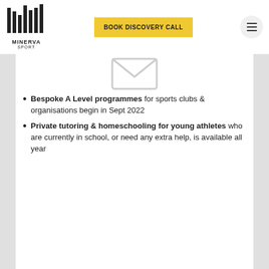MINERVA SPORT | BOOK DISCOVERY CALL
[Figure (logo): Minerva Sport logo with stylized M made of vertical lines above text MINERVA SPORT]
[Figure (illustration): Envelope icon, partially visible at top of content area]
Bespoke A Level programmes for sports clubs & organisations begin in Sept 2022
Private tutoring & homeschooling for young athletes who are currently in school, or need any extra help, is available all year